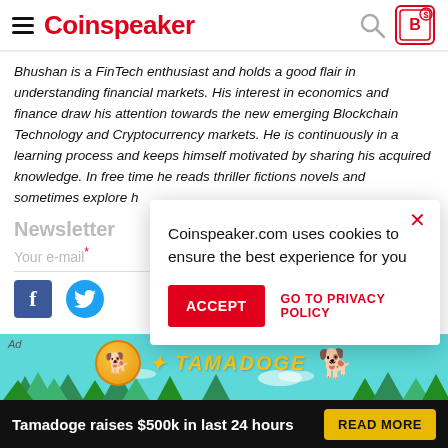Coinspeaker
Bhushan is a FinTech enthusiast and holds a good flair in understanding financial markets. His interest in economics and finance draw his attention towards the new emerging Blockchain Technology and Cryptocurrency markets. He is continuously in a learning process and keeps himself motivated by sharing his acquired knowledge. In free time he reads thriller fictions novels and sometimes explore h…
Newsletter
Your e-mail *
[Figure (screenshot): Cookie consent modal: 'Coinspeaker.com uses cookies to ensure the best experience for you' with ACCEPT button and GO TO PRIVACY POLICY link]
[Figure (infographic): Tamadoge advertisement banner: 'Tamadoge raises $500k in last 24 hours' with READ MORE button]